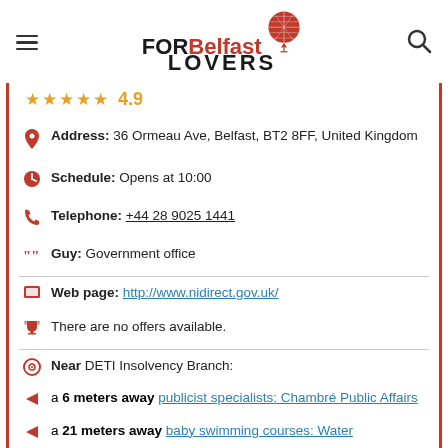FOR Belfast LOVERS
★★★★★ 4.9
Address: 36 Ormeau Ave, Belfast, BT2 8FF, United Kingdom
Schedule: Opens at 10:00
Telephone: +44 28 9025 1441
Guy: Government office
Web page: http://www.nidirect.gov.uk/
There are no offers available.
Near DETI Insolvency Branch:
a 6 meters away publicist specialists: Chambré Public Affairs
a 21 meters away baby swimming courses: Water